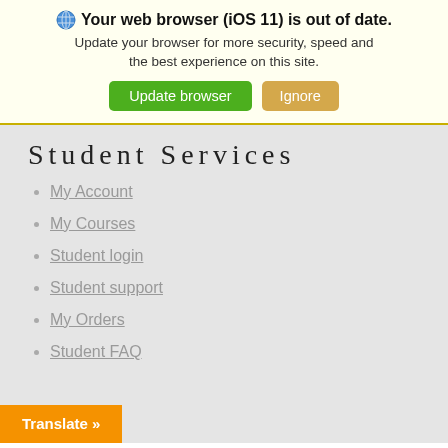🌐 Your web browser (iOS 11) is out of date. Update your browser for more security, speed and the best experience on this site.
Student Services
My Account
My Courses
Student login
Student support
My Orders
Student FAQ
Translate »